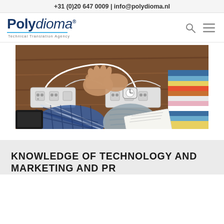+31 (0)20 647 0009 | info@polydioma.nl
[Figure (logo): Polydioma Technical Translation Agency logo with blue text and underline]
[Figure (photo): Overhead photo of two people's hands and arms with cables, power strips, a wristwatch, striped fabric, and documents on a wooden table]
KNOWLEDGE OF TECHNOLOGY AND MARKETING AND PR